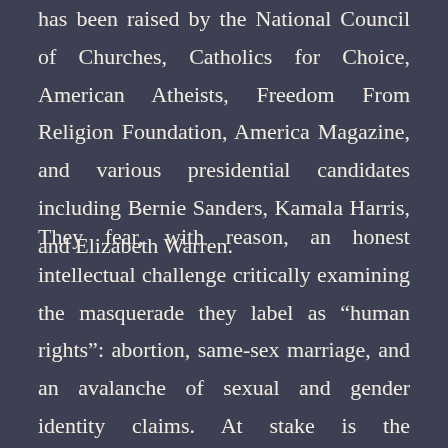has been raised by the National Council of Churches, Catholics for Choice, American Atheists, Freedom From Religion Foundation, America Magazine, and various presidential candidates including Bernie Sanders, Kamala Harris, and Elizabeth Warren.
They fear, with reason, an honest intellectual challenge critically examining the masquerade they label as “human rights”: abortion, same-sex marriage, and an avalanche of sexual and gender identity claims. At stake is the unalienable right to the free exercise of religion. Only by subjecting religious rights to a secondary status may the radical social engineers dismantle the natural family. Witness the efforts to